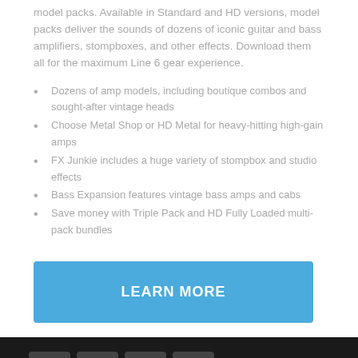model packs. Available in Standard and HD versions, model packs deliver the sounds of dozens of iconic guitar and bass amplifiers, stompboxes, and other effects. Download them all for the maximum Line 6 gear experience.
Dozens of amp models, including boutique combos and sought-after vintage heads
Choose Metal Shop or HD Metal for heavy-hitting high-gain amps
FX Junkie includes a huge variety of stompbox and studio effects
Bass Expansion features vintage bass amps and cabs
Save money with Triple Pack and HD Fully Loaded multi-pack bundles
[Figure (other): Blue LEARN MORE button]
Stay informed